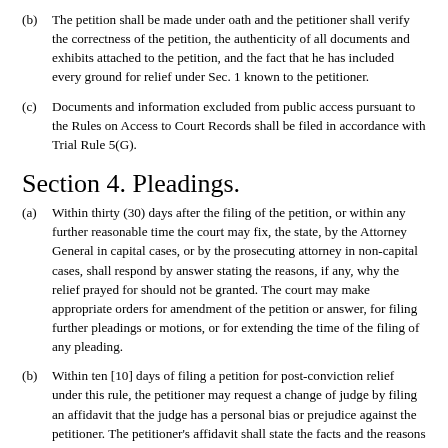(b) The petition shall be made under oath and the petitioner shall verify the correctness of the petition, the authenticity of all documents and exhibits attached to the petition, and the fact that he has included every ground for relief under Sec. 1 known to the petitioner.
(c) Documents and information excluded from public access pursuant to the Rules on Access to Court Records shall be filed in accordance with Trial Rule 5(G).
Section 4. Pleadings.
(a) Within thirty (30) days after the filing of the petition, or within any further reasonable time the court may fix, the state, by the Attorney General in capital cases, or by the prosecuting attorney in non-capital cases, shall respond by answer stating the reasons, if any, why the relief prayed for should not be granted. The court may make appropriate orders for amendment of the petition or answer, for filing further pleadings or motions, or for extending the time of the filing of any pleading.
(b) Within ten [10] days of filing a petition for post-conviction relief under this rule, the petitioner may request a change of judge by filing an affidavit that the judge has a personal bias or prejudice against the petitioner. The petitioner's affidavit shall state the facts and the reasons for the belief that such bias or prejudice exists, and shall be accompanied by a certificate from the attorney of record that the attorney in good faith believes that the historical facts recited in the affidavit are true. A change of judge shall be granted if the historical facts recited in the affidavit support a rational